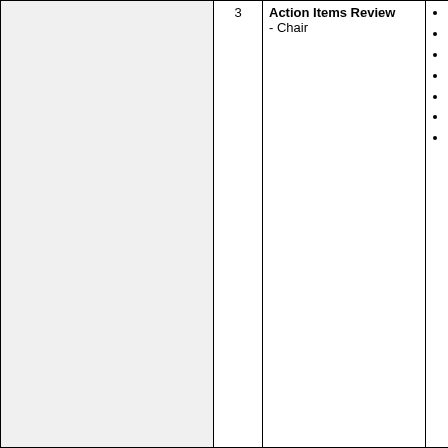|  | # | Agenda Item | Notes |
| --- | --- | --- | --- |
|  | 3 | Action Items Review
- Chair | • Display Policy - Deferre
• 61: Stakeholder survey - Deferre
• 70: IEEE MOU - Deferre
• 74: Clin recruitment Deferre
• 77: HIT RMON Deferre
• 78: Con - Deferr
• 82: CIM Deferre |